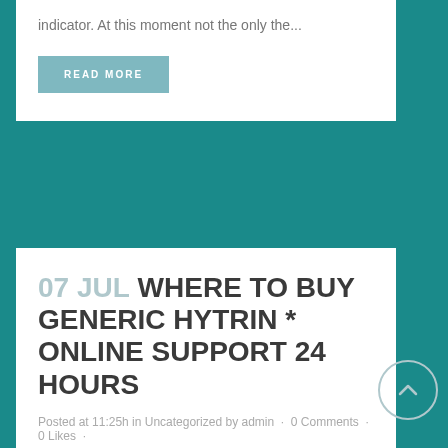indicator. At this moment not the only the...
READ MORE
07 JUL WHERE TO BUY GENERIC HYTRIN * ONLINE SUPPORT 24 HOURS
Posted at 11:25h in Uncategorized by admin · 0 Comments · 0 Likes ·